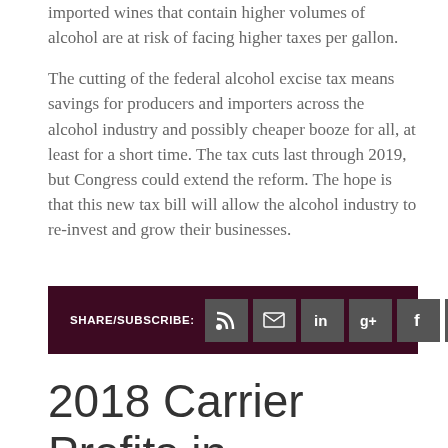imported wines that contain higher volumes of alcohol are at risk of facing higher taxes per gallon.

The cutting of the federal alcohol excise tax means savings for producers and importers across the alcohol industry and possibly cheaper booze for all, at least for a short time. The tax cuts last through 2019, but Congress could extend the reform. The hope is that this new tax bill will allow the alcohol industry to re-invest and grow their businesses.
[Figure (infographic): Share/Subscribe bar with social media icons: RSS, Email, LinkedIn, Google+, Facebook, Twitter on a dark maroon background]
2018 Carrier Profits in Question as Capacity is Expected to Exceed Demand